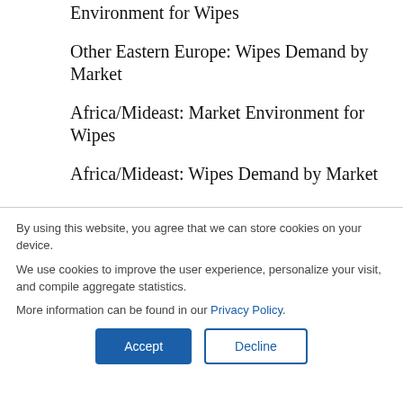Environment for Wipes
Other Eastern Europe: Wipes Demand by Market
Africa/Mideast: Market Environment for Wipes
Africa/Mideast: Wipes Demand by Market
By using this website, you agree that we can store cookies on your device.

We use cookies to improve the user experience, personalize your visit, and compile aggregate statistics.

More information can be found in our Privacy Policy.